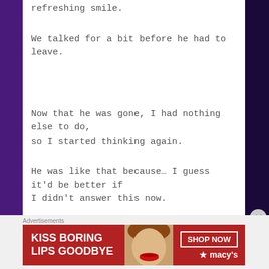refreshing smile.
We talked for a bit before he had to leave.
Now that he was gone, I had nothing else to do, so I started thinking again.
He was like that because… I guess it'd be better if I didn't answer this now.
I don't really want to think right now.
Advertisements
[Figure (photo): Advertisement banner for Macy's lipstick: 'KISS BORING LIPS GOODBYE' with SHOP NOW button and Macy's star logo]